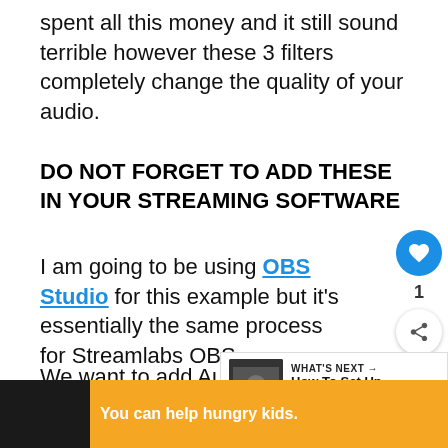spent all this money and it still sound terrible however these 3 filters completely change the quality of your audio.
DO NOT FORGET TO ADD THESE IN YOUR STREAMING SOFTWARE
I am going to be using OBS Studio for this example but it's essentially the same process for Streamlabs OBS.
We want to add Audio filters to our mic in OBS to filter out background noise, key c...
[Figure (screenshot): WHAT'S NEXT overlay with thumbnail image and text: How To Set Up A HyperX...]
[Figure (infographic): Social action buttons: heart (blue circle) with count 1, and share button]
[Figure (infographic): Advertisement banner: orange background, You can help hungry kids. No Kid Hungry. LEARN HOW button.]